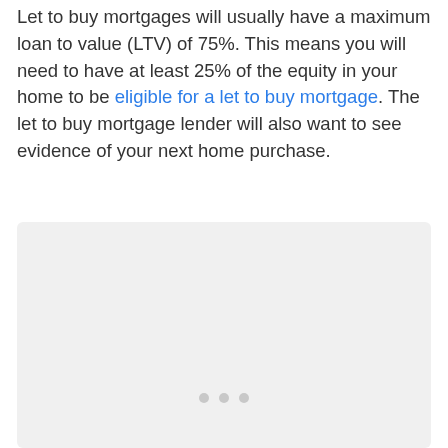Let to buy mortgages will usually have a maximum loan to value (LTV) of 75%. This means you will need to have at least 25% of the equity in your home to be eligible for a let to buy mortgage. The let to buy mortgage lender will also want to see evidence of your next home purchase.
[Figure (other): Gray rounded rectangle placeholder box with three gray dots centered near the bottom, indicating a loading or content placeholder area.]